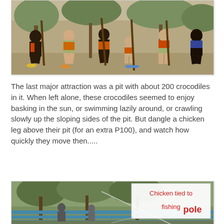[Figure (photo): Group of people crouching and posing with long sticks/spears outdoors on sandy ground with trees in background]
The last major attraction was a pit with about 200 crocodiles in it. When left alone, these crocodiles seemed to enjoy basking in the sun, or swimming lazily around, or crawling slowly up the sloping sides of the pit. But dangle a chicken leg above their pit (for an extra P100), and watch how quickly they move then.....
[Figure (photo): Outdoor scene showing trees and a railing/fence area with a text annotation overlay reading 'Chicken tied to fishing pole' in red handwritten style font with a callout arrow]